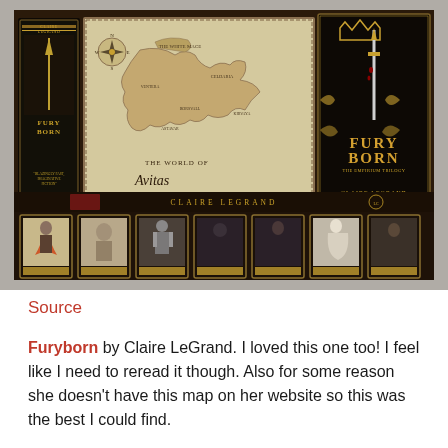[Figure (photo): Photo of Furyborn book merchandise including the main book cover with crown and sword design, a fantasy map of 'The World of Avitas', a smaller book, and seven character trading cards laid out on a dark surface.]
Source
Furyborn by Claire LeGrand. I loved this one too! I feel like I need to reread it though. Also for some reason she doesn't have this map on her website so this was the best I could find.